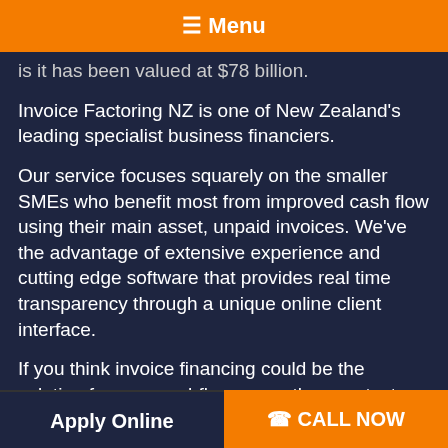☰ Menu
is it has been valued at $78 billion.
Invoice Factoring NZ is one of New Zealand's leading specialist business financiers.
Our service focuses squarely on the smaller SMEs who benefit most from improved cash flow using their main asset, unpaid invoices. We've the advantage of extensive experience and cutting edge software that provides real time transparency through a unique online client interface.
If you think invoice financing could be the solution for your cashflow woes, then contact us today.
Apply Online   ☎ CALL NOW